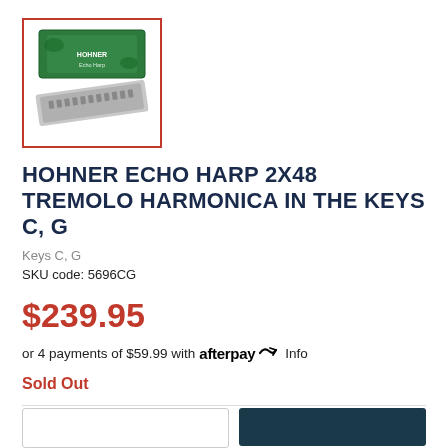[Figure (photo): Hohner Echo Harp harmonica with green box packaging, shown diagonally. Product thumbnail image with red border.]
HOHNER ECHO HARP 2X48 TREMOLO HARMONICA IN THE KEYS C, G
Keys C, G
SKU code: 5696CG
$239.95
or 4 payments of $59.99 with afterpay Info
Sold Out
Quantity: